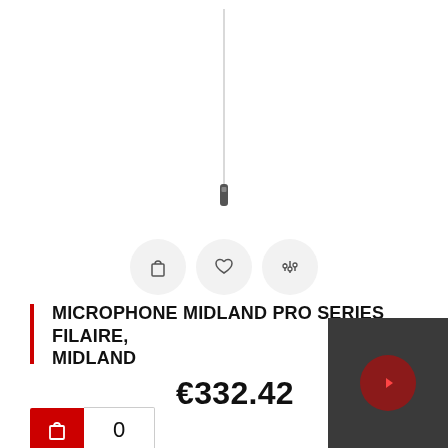[Figure (photo): A wired lavalier microphone hanging from a thin white cable against a white background, with three circular action buttons below (add to cart, wishlist, and compare/settings icons).]
MICROPHONE MIDLAND PRO SERIES FILAIRE, MIDLAND
€332.42
0